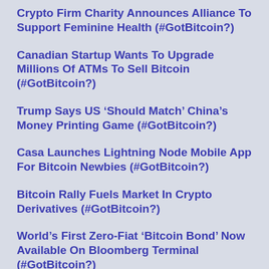Crypto Firm Charity Announces Alliance To Support Feminine Health (#GotBitcoin?)
Canadian Startup Wants To Upgrade Millions Of ATMs To Sell Bitcoin (#GotBitcoin?)
Trump Says US ‘Should Match’ China’s Money Printing Game (#GotBitcoin?)
Casa Launches Lightning Node Mobile App For Bitcoin Newbies (#GotBitcoin?)
Bitcoin Rally Fuels Market In Crypto Derivatives (#GotBitcoin?)
World’s First Zero-Fiat ‘Bitcoin Bond’ Now Available On Bloomberg Terminal (#GotBitcoin?)
Buying Bitcoin Has Been Profitable 98.2% Of The Days Since Creation (#GotBitcoin?)